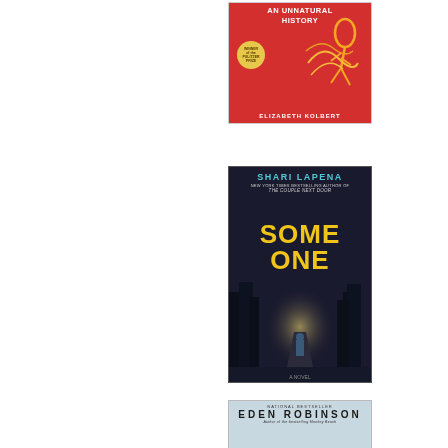[Figure (illustration): Book cover: The Sixth Extinction: An Unnatural History by Elizabeth Kolbert. Red background with yellow fossil/skeleton illustration. Winner of the Pulitzer Prize badge.]
[Figure (illustration): Book cover: Someone We Know by Shari Lapena. Dark night scene with a lone figure walking on a lit path through trees. Title in large yellow text. New York Times bestselling author of The Couple Next Door.]
[Figure (illustration): Book cover (partially visible): Eden Robinson. National Bestseller. Author of the bestselling Monkey Beach.]